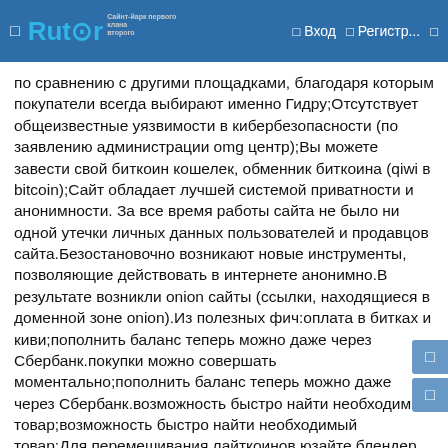Rutor — Вход — Регистр...
по сравнению с другими площадками, благодаря которым покупатели всегда выбирают именно Гидру;Отсутствует общеизвестные уязвимости в кибербезопасности (по заявлению администрации omg центр);Вы можете завести свой биткоин кошелек, обменник биткоина (qiwi в bitcoin);Сайт обладает лучшей системой приватности и анонимности. За все время работы сайта не было ни одной утечки личных данных пользователей и продавцов сайта.Безостановочно возникают новые инструменты, позволяющие действовать в интернете анонимно.В результате возникли onion сайты (ссылки, находящиеся в доменной зоне onion).Из полезных фич:оплата в битках и киви;пополнить баланс теперь можно даже через Сбербанк.покупки можно совершать моментально;пополнить баланс теперь можно даже через Сбербанк.возможность быстро найти необходимый товар;возможность быстро найти необходимый товар;Для перемешивания лайткоинов юзайте блендер биткоиновblender mixerКак уже было сказано, площадка ОМГ...